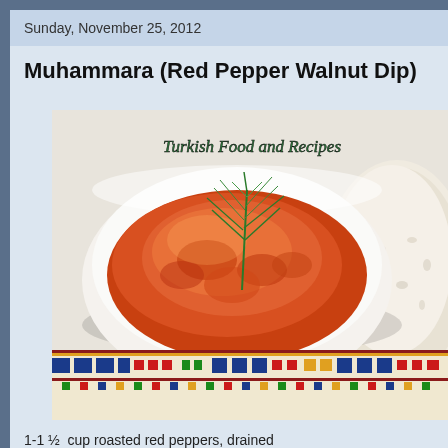Sunday, November 25, 2012
Muhammara (Red Pepper Walnut Dip)
[Figure (photo): A white bowl filled with muhammara (red pepper walnut dip) garnished with fresh dill, served beside a slice of rustic bread on a colorful embroidered textile. The bowl has a watermark reading 'Turkish Food and Recipes'.]
1-1 ½  cup roasted red peppers, drained